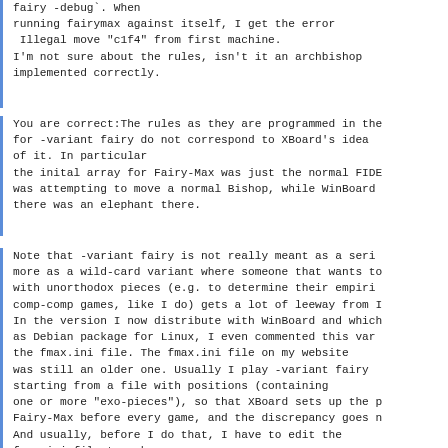fairy -debug`. When
running fairymax against itself, I get the error
 Illegal move "c1f4" from first machine.
I'm not sure about the rules, isn't it an archbishop
implemented correctly.
You are correct:The rules as they are programmed in the
for -variant fairy do not correspond to XBoard's idea
of it. In particular
the inital array for Fairy-Max was just the normal FIDE
was attempting to move a normal Bishop, while WinBoard
there was an elephant there.
Note that -variant fairy is not really meant as a seri
more as a wild-card variant where someone that wants to
with unorthodox pieces (e.g. to determine their empiri
comp-comp games, like I do) gets a lot of leeway from 
In the version I now distribute with WinBoard and which
as Debian package for Linux, I even commented this var
the fmax.ini file. The fmax.ini file on my website
was still an older one. Usually I play -variant fairy
starting from a file with positions (containing
one or more "exo-pieces"), so that XBoard sets up the 
Fairy-Max before every game, and the discrepancy goes 
And usually, before I do that, I have to edit the
fmax.ini file to make
sure Fairy-Max supports the exo-pieces I want to test:
XBoard supports 22 piece types and allows all of them 
-variant fairy, Fairy-Max is limited to supporting 16